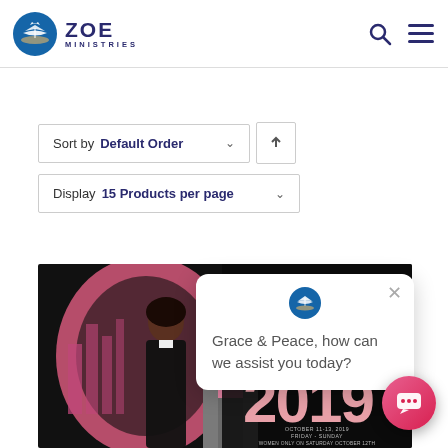[Figure (logo): Zoe Ministries logo: blue circle with white book/wings emblem, text ZOE MINISTRIES in dark navy]
Sort by Default Order
Display 15 Products per page
[Figure (photo): Women's Conference 2019 promotional image: couple posing in front of pink arch backdrop on black background, conference text shows WOMEN'S CONFERENCE 2019, October 11-13 2019, Friday-Sunday, Women Only on Saturday October 12th, Wear Pink on Sunday October 13th]
Grace & Peace, how can we assist you today?